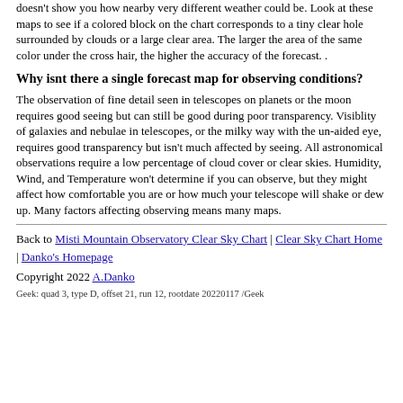doesn't show you how nearby very different weather could be. Look at these maps to see if a colored block on the chart corresponds to a tiny clear hole surrounded by clouds or a large clear area. The larger the area of the same color under the cross hair, the higher the accuracy of the forecast. .
Why isnt there a single forecast map for observing conditions?
The observation of fine detail seen in telescopes on planets or the moon requires good seeing but can still be good during poor transparency. Visiblity of galaxies and nebulae in telescopes, or the milky way with the un-aided eye, requires good transparency but isn't much affected by seeing. All astronomical observations require a low percentage of cloud cover or clear skies. Humidity, Wind, and Temperature won't determine if you can observe, but they might affect how comfortable you are or how much your telescope will shake or dew up. Many factors affecting observing means many maps.
Back to Misti Mountain Observatory Clear Sky Chart | Clear Sky Chart Home | Danko's Homepage
Copyright 2022 A.Danko
Geek: quad 3, type D, offset 21, run 12, rootdate 20220117 /Geek